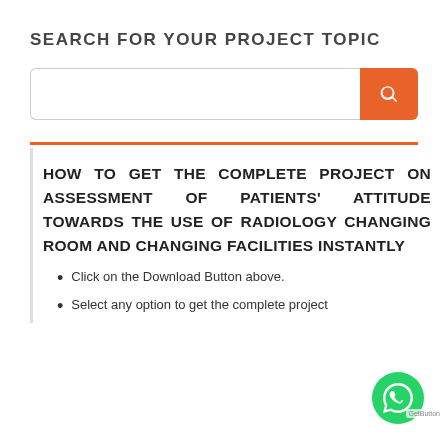SEARCH FOR YOUR PROJECT TOPIC
[Figure (screenshot): Search input box with orange search button]
HOW TO GET THE COMPLETE PROJECT ON ASSESSMENT OF PATIENTS' ATTITUDE TOWARDS THE USE OF RADIOLOGY CHANGING ROOM AND CHANGING FACILITIES INSTANTLY
Click on the Download Button above.
Select any option to get the complete project